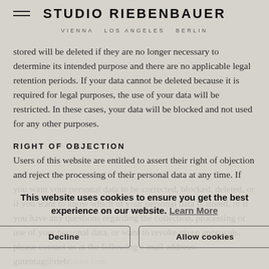STUDIO RIEBENBAUER | VIENNA  LOS ANGELES  BERLIN
stored will be deleted if they are no longer necessary to determine its intended purpose and there are no applicable legal retention periods. If your data cannot be deleted because it is required for legal purposes, the use of your data will be restricted. In these cases, your data will be blocked and not used for any other purposes.
RIGHT OF OBJECTION
Users of this website are entitled to assert their right of objection and reject the processing of their personal data at any time. If you want your personal data to be corrected, blocked, deleted, or if you want to know which of your personal data is stored, or if you have any questions regarding the collection, processing or use of your personal data, or want to revoke given approvals, please contact us at the following e-mail address: gutentag@riebenbauer.com
This website uses cookies to ensure you get the best experience on our website. Learn More
Decline | Allow cookies